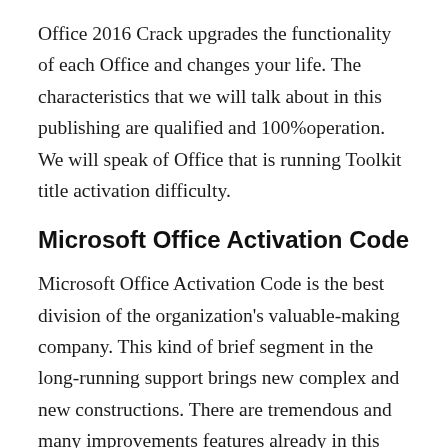Office 2016 Crack upgrades the functionality of each Office and changes your life. The characteristics that we will talk about in this publishing are qualified and 100%operation. We will speak of Office that is running Toolkit title activation difficulty.
Microsoft Office Activation Code
Microsoft Office Activation Code is the best division of the organization's valuable-making company. This kind of brief segment in the long-running support brings new complex and new constructions. There are tremendous and many improvements features already in this story. A portion of these advanced signs